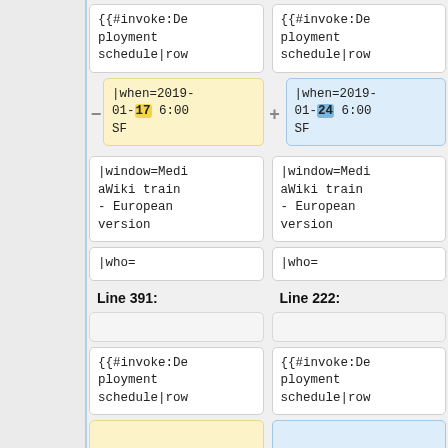[Figure (screenshot): Diff view of wiki deployment schedule template rows. Left column shows old version (line 391), right column shows new version (line 222). Each column contains code cells with {{#invoke:Deployment schedule|row, |when=2019-01-17 6:00 SF (highlighted 17 in yellow), |window=MediaWiki train - European version, |who=. Right column has |when=2019-01-24 6:00 SF (highlighted 24 in blue). Below the line labels are empty cells followed by {{#invoke:Deployment schedule|row cells and partial yellow/blue cells.]